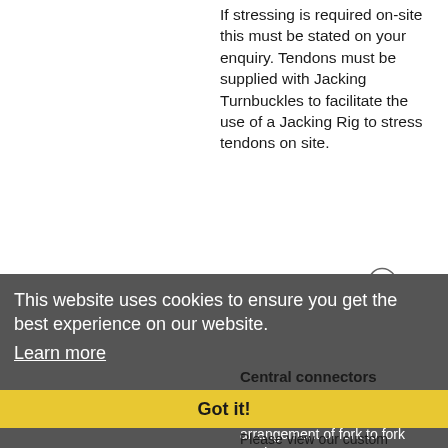If stressing is required on-site this must be stated on your enquiry. Tendons must be supplied with Jacking Turnbuckles to facilitate the use of a Jacking Rig to stress tendons on site.
[Figure (engineering-diagram): Diagonal engineering diagram of a cable/tendon assembly with connectors at both ends, oriented from lower-left to upper-right.]
This website uses cookies to ensure you get the best experience on our website.
Learn more
Central connectors
A shaped central connection, usually circular, to take an arrangement of fork to fork tendons.
Got it!
Please view our custom connectors